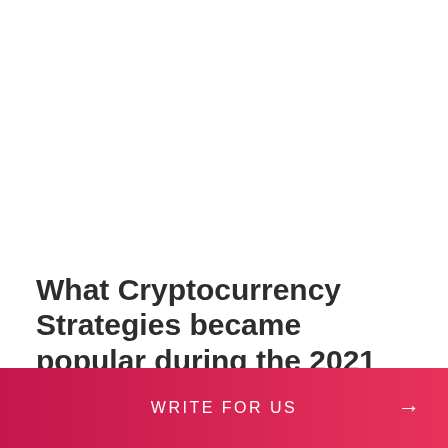What Cryptocurrency Strategies became popular during the 2021 bull Market
WRITE FOR US →